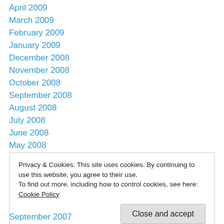April 2009
March 2009
February 2009
January 2009
December 2008
November 2008
October 2008
September 2008
August 2008
July 2008
June 2008
May 2008
April 2008
Privacy & Cookies: This site uses cookies. By continuing to use this website, you agree to their use.
To find out more, including how to control cookies, see here: Cookie Policy
September 2007